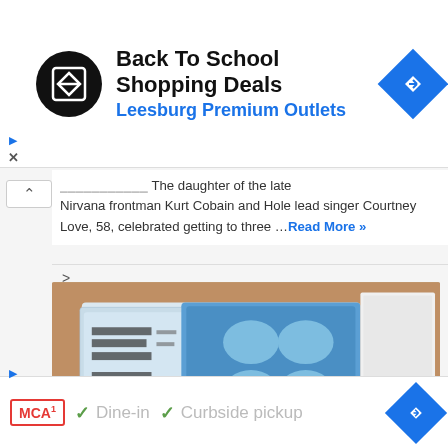[Figure (screenshot): Ad banner: Back To School Shopping Deals at Leesburg Premium Outlets with circular logo and blue navigation diamond icon]
The daughter of the late Nirvana frontman Kurt Cobain and Hole lead singer Courtney Love, 58, celebrated getting to three … Read More »
[Figure (photo): Photo of Paxlovid medication blister packs arranged on a wooden surface, blue and white packaging with barcodes]
FDA asks Pfizer to test second Paxlovid course in patients with
[Figure (screenshot): Bottom ad banner: MCA badge with Dine-in and Curbside pickup checkmarks and blue navigation diamond icon]